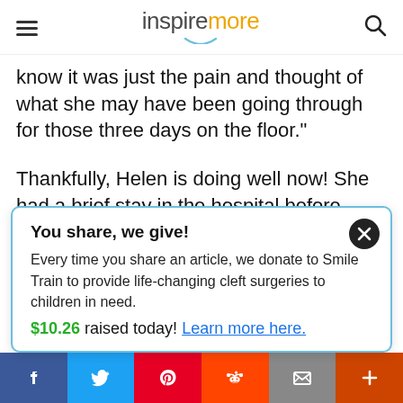inspiremore
know it was just the pain and thought of what she may have been going through for those three days on the floor."
Thankfully, Helen is doing well now! She had a brief stay in the hospital before going to a rehabilitation center to work on getting
You share, we give!
Every time you share an article, we donate to Smile Train to provide life-changing cleft surgeries to children in need.
$10.26 raised today! Learn more here.
f  Twitter  Pinterest  Reddit  Mail  +